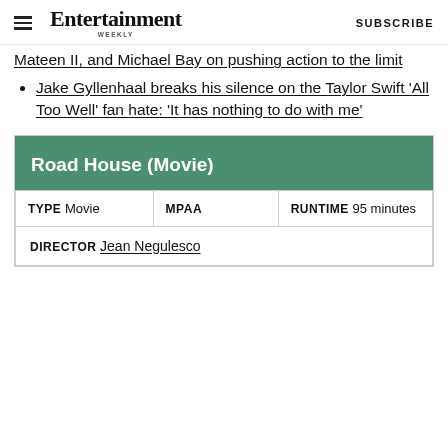Entertainment Weekly  SUBSCRIBE
Mateen II, and Michael Bay on pushing action to the limit
Jake Gyllenhaal breaks his silence on the Taylor Swift 'All Too Well' fan hate: 'It has nothing to do with me'
| Road House (Movie) |  |  |
| --- | --- | --- |
| TYPE  Movie | MPAA | RUNTIME  95 minutes |
| DIRECTOR  Jean Negulesco |  |  |